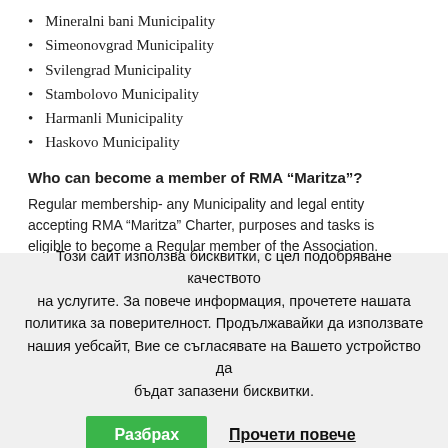Mineralni bani Municipality
Simeonovgrad Municipality
Svilengrad Municipality
Stambolovo Municipality
Harmanli Municipality
Haskovo Municipality
Who can become a member of RMA “Maritza”?
Regular membership- any Municipality and legal entity accepting RMA “Maritza” Charter, purposes and tasks is eligible to become a Regular member of the Association.
Associate membership- Permanent residents and firms registered and...
Този сайт използва бисквитки, с цел подобряване качеството на услугите. За повече информация, прочетете нашата политика за поверителност. Продължавайки да използвате нашия уебсайт, Вие се съгласявате на Вашето устройство да бъдат запазени бисквитки.
Разбрах    Прочети повече